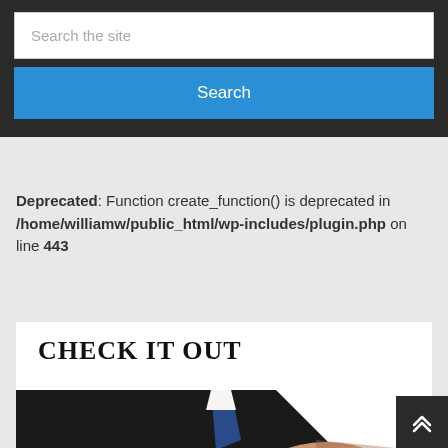[Figure (screenshot): Search widget with dark background containing a text input field showing 'Search the site' placeholder and a blue Search button]
Deprecated: Function create_function() is deprecated in /home/williamw/public_html/wp-includes/plugin.php on line 443
CHECK IT OUT
[Figure (photo): Person in black suit with blue tie extending hand forward, shown from chest down with white background on right side]
[Figure (screenshot): Dark scroll-to-top button with double up-arrow chevron in bottom right corner]